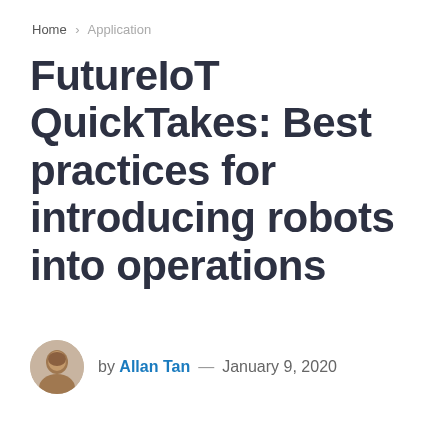Home > Application
FutureIoT QuickTakes: Best practices for introducing robots into operations
by Allan Tan — January 9, 2020